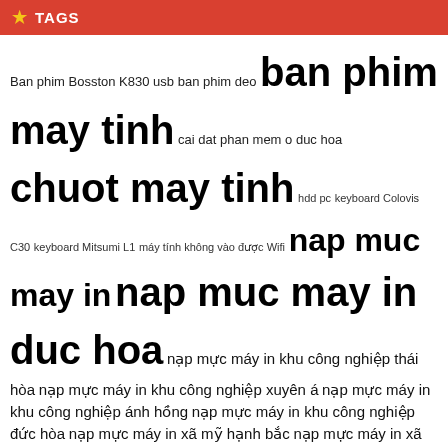TAGS
Ban phim Bosston K830 usb ban phim deo ban phim may tinh cai dat phan mem o duc hoa chuot may tinh hdd pc keyboard Colovis C30 keyboard Mitsumi L1 máy tính không vào được Wifi nap muc may in nap muc may in duc hoa nạp mực máy in khu công nghiệp thái hòa nạp mực máy in khu công nghiệp xuyên á nạp mực máy in khu công nghiệp ánh hồng nạp mực máy in khu công nghiệp đức hòa nạp mực máy in xã mỹ hạnh bắc nạp mực máy in xã mỹ hạnh nam Nạp mực máy in xã Đức Lập Hạ printer software sua may tinh duc hoa sua may tinh duc hue sua may tinh huyen ben luc sua may tinh khu cong nghiep hai son sua may tinh khu cong nghiep tan duc sua may tinh khu cong nghiep tay bac cu chi sua may tinh o duc hoa sua may tinh tai nha duc hoa sua may tinh thi tran ben luc Sửa máy in Đức Hòa sửa máy tính sửa máy tính bến lức sửa máy tính cống gò mối sửa máy tính huyện đức hòa sửa máy tính tân phước hiệp Sửa máy tính tại nhà Sửa máy tính